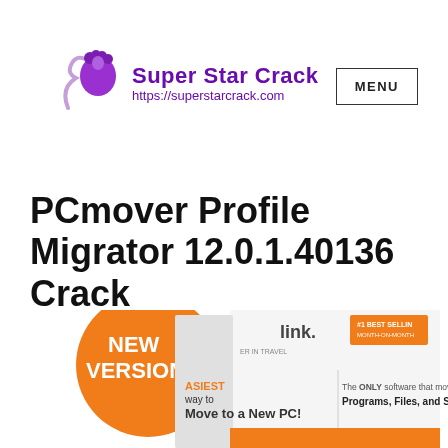[Figure (logo): Super Star Crack logo with purple woman silhouette and text 'Super Star Crack https://superstarcrack.com']
MENU
PCmover Profile Migrator 12.0.1.40136 Crack
[Figure (photo): PCmover software box with orange circle badge saying 'NEW VERSION!', showing '#1 Best Seller' badge, 'ASIEST way to Move to a New PC!' text and 'The ONLY software that moves your Programs, Files, and Settings']